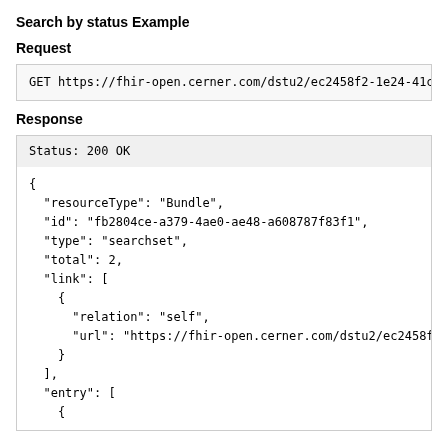Search by status Example
Request
GET https://fhir-open.cerner.com/dstu2/ec2458f2-1e24-41c8-b71
Response
Status: 200 OK
{
  "resourceType": "Bundle",
  "id": "fb2804ce-a379-4ae0-ae48-a608787f83f1",
  "type": "searchset",
  "total": 2,
  "link": [
    {
      "relation": "self",
      "url": "https://fhir-open.cerner.com/dstu2/ec2458f2-1e2
    }
  ],
  "entry": [
    {